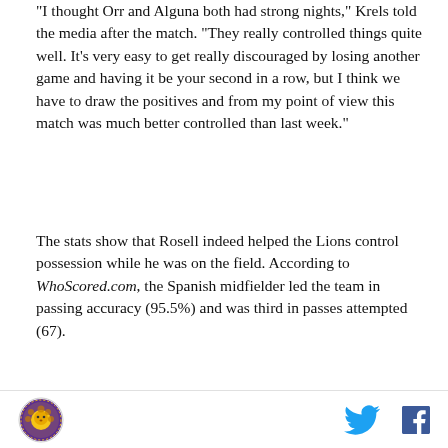thought Orr and Alguna both had strong nights, Krels told the media after the match. “They really controlled things quite well. It’s very easy to get really discouraged by losing another game and having it be your second in a row, but I think we have to draw the positives and from my point of view this match was much better controlled than last week.”
The stats show that Rosell indeed helped the Lions control possession while he was on the field. According to WhoScored.com, the Spanish midfielder led the team in passing accuracy (95.5%) and was third in passes attempted (67).
[Figure (other): Advertisement box with AD label]
[Figure (logo): Circular team logo (lions crest, purple and gold) in page footer, with Twitter and Facebook social icons on the right]